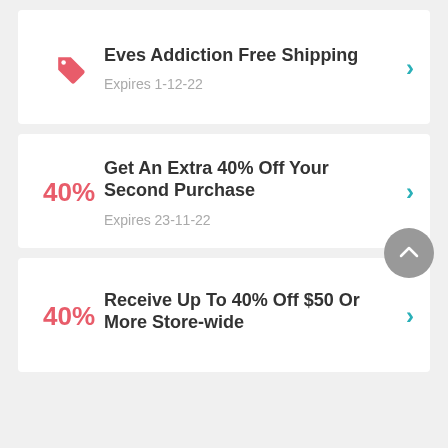Eves Addiction Free Shipping — Expires 1-12-22
Get An Extra 40% Off Your Second Purchase — Expires 23-11-22
Receive Up To 40% Off $50 Or More Store-wide